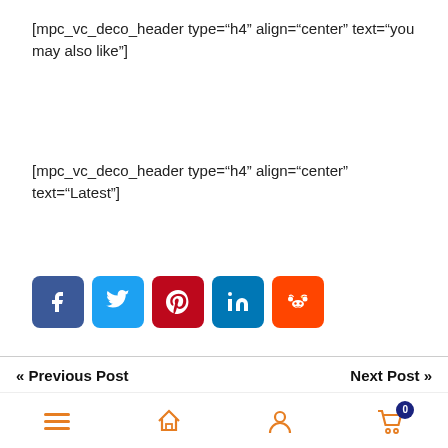[mpc_vc_deco_header type="h4" align="center" text="you may also like"]
[mpc_vc_deco_header type="h4" align="center" text="Latest"]
[Figure (infographic): Row of 5 social media share buttons: Facebook (blue), Twitter (light blue), Pinterest (dark red), LinkedIn (teal blue), Reddit (orange)]
« Previous Post    Next Post »
[Figure (infographic): Mobile bottom navigation bar with hamburger menu, home, user, and cart (with badge 0) icons in orange]